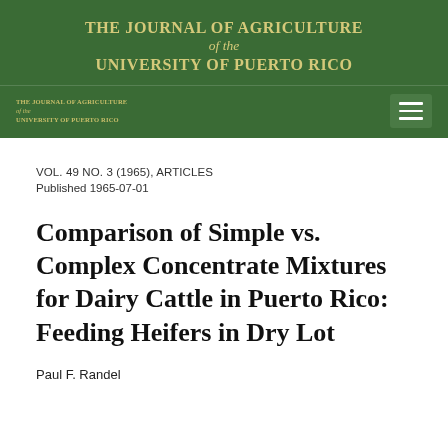THE JOURNAL OF AGRICULTURE of the UNIVERSITY OF PUERTO RICO
VOL. 49 NO. 3 (1965), ARTICLES
Published 1965-07-01
Comparison of Simple vs. Complex Concentrate Mixtures for Dairy Cattle in Puerto Rico: Feeding Heifers in Dry Lot
Paul F. Randel